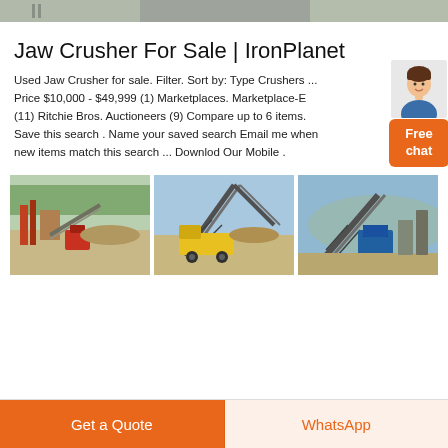[Figure (photo): Top banner photo showing industrial/quarry machinery, partially cropped at the top of the page]
Jaw Crusher For Sale | IronPlanet
Used Jaw Crusher for sale. Filter. Sort by: Type Crushers ... Price $10,000 - $49,999 (1) Marketplaces. Marketplace-E (11) Ritchie Bros. Auctioneers (9) Compare up to 6 items. Save this search . Name your saved search Email me when new items match this search ... Download Our Mobile .
[Figure (photo): Free chat widget with a female customer service avatar and an orange 'Free chat' button]
[Figure (photo): Three side-by-side photos of jaw crusher / quarry equipment in outdoor industrial settings: left shows a quarry processing plant with red equipment, center shows a mining dump truck on a dirt road with conveyor structures, right shows heavy industrial crusher machinery]
Get a Quote
WhatsApp